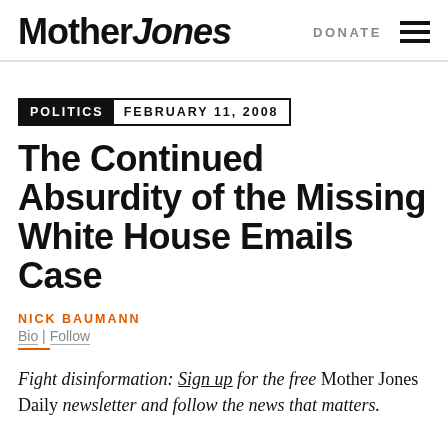Mother Jones | DONATE
POLITICS  FEBRUARY 11, 2008
The Continued Absurdity of the Missing White House Emails Case
NICK BAUMANN
Bio | Follow
Fight disinformation: Sign up for the free Mother Jones Daily newsletter and follow the news that matters.